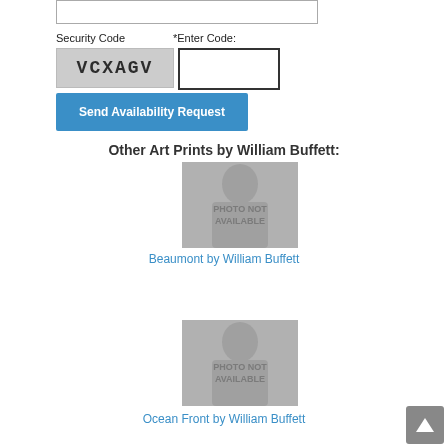[Figure (screenshot): Textarea input box (top of form)]
Security Code
*Enter Code:
[Figure (other): CAPTCHA image showing distorted letters: VCXAGV]
[Figure (screenshot): Empty text input box for entering CAPTCHA code]
[Figure (screenshot): Blue 'Send Availability Request' button]
Other Art Prints by William Buffett:
[Figure (photo): Photo not available placeholder image (Mona Lisa silhouette with PHOTO NOT AVAILABLE text)]
Beaumont by William Buffett
[Figure (photo): Photo not available placeholder image (Mona Lisa silhouette with PHOTO NOT AVAILABLE text)]
Ocean Front by William Buffett